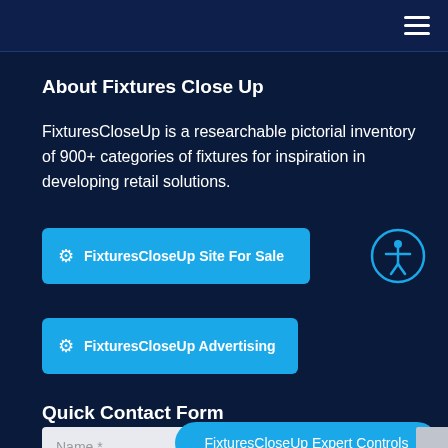≡ (navigation menu)
About Fixtures Close Up
FixturesCloseUp is a researchable pictorial inventory of 900+ categories of fixtures for inspiration in developing retail solutions.
⚙ FixturesCloseUp Site For Sale
[Figure (illustration): Accessibility icon: circle with stick figure person with outstretched arms, cyan colored outline]
⚙ FixturesCloseUp Advertising
Quick Contact Form
Name *
FixturesCloseUp Expert Controls